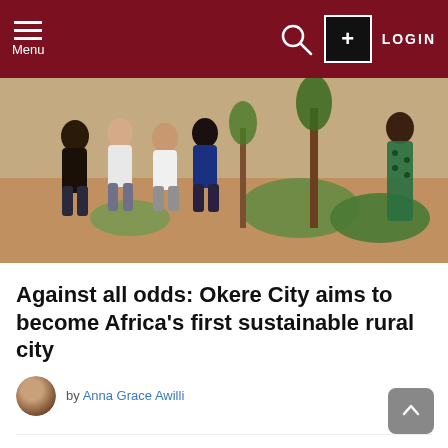Menu  LOGIN
[Figure (photo): Group of people seated and standing outdoors in a sandy area with trees and green vegetation]
Against all odds: Okere City aims to become Africa's first sustainable rural city
by Anna Grace Awilli
Rural-Urban Legacy
by Ronnie ALINDA